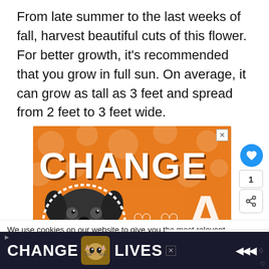From late summer to the last weeks of fall, harvest beautiful cuts of this flower. For better growth, it's recommended that you grow in full sun. On average, it can grow as tall as 3 feet and spread from 2 feet to 3 feet wide.
[Figure (illustration): Orange advertisement banner with 'CHANGE' text, a black dog, hearts, and the letter A. Part of a CHANGE animal advocacy ad.]
We use cookies on our website to give you the most relevant experience by remembering your preferences and. By clicking "Accept", you consent to the use of AL
Do not sell my personal information.
[Figure (illustration): Bottom banner ad: dark background with 'CHANGE [cat image] LIVES' text in white, with an X close button and sound/weather icons.]